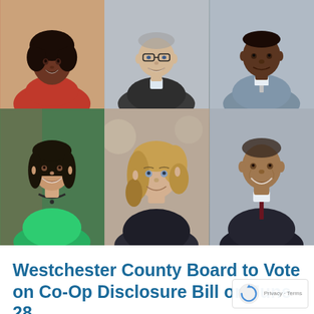[Figure (photo): A 3x2 grid of six headshot photographs of individuals (candidates or board members). Top row left: Black woman in red top. Top row center: White older man in dark suit with glasses. Top row right: Black man in light suit and tie. Bottom row left: Asian woman in green dress with necklace. Bottom row center: White woman with blonde hair in dark jacket. Bottom row right: Mixed-race man in dark suit with tie.]
Westchester County Board to Vote on Co-Op Disclosure Bill on June 28
JUNE 21, 2021
WHITE PLAINS—Decades of advocating for strong laws to promote co-op disclosure in